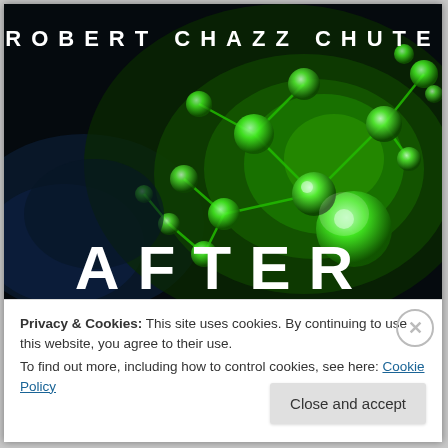[Figure (illustration): Book cover for 'After' by Robert Chazz Chute. Dark background with glowing green molecular/atom structure with spheres connected by rods. Author name 'ROBERT CHAZZ CHUTE' appears at top in white spaced letters. Book title 'AFTER' appears at bottom in large white bold letters.]
Privacy & Cookies: This site uses cookies. By continuing to use this website, you agree to their use.
To find out more, including how to control cookies, see here: Cookie Policy
Close and accept